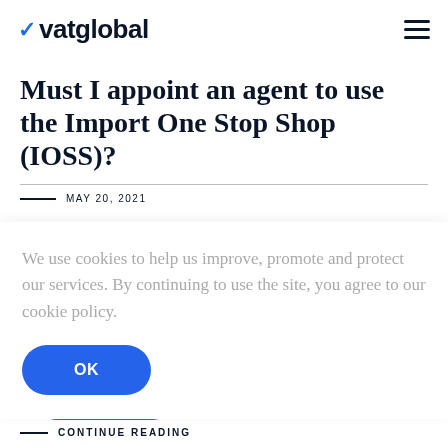vatglobal
Must I appoint an agent to use the Import One Stop Shop (IOSS)?
MAY 20, 2021
We use cookies to help us improve, promote and protect our services. By continuing to use the site, you agree to our cookie policy.
OK
GET A QUOTE
CONTINUE READING